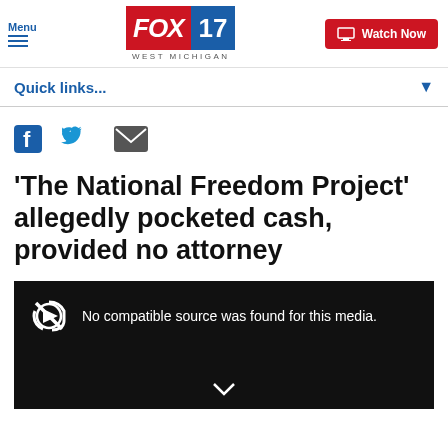FOX 17 WEST MICHIGAN — Menu | Watch Now
Quick links...
[Figure (infographic): Social share icons: Facebook, Twitter, Email]
‘The National Freedom Project’ allegedly pocketed cash, provided no attorney
[Figure (screenshot): Video player with no compatible source warning: No compatible source was found for this media.]